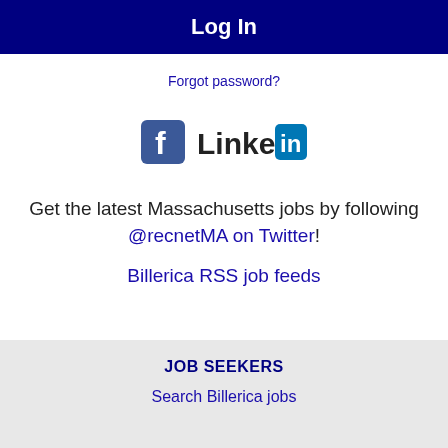Log In
Forgot password?
[Figure (logo): Facebook and LinkedIn social media logos side by side]
Get the latest Massachusetts jobs by following @recnetMA on Twitter!
Billerica RSS job feeds
JOB SEEKERS
Search Billerica jobs